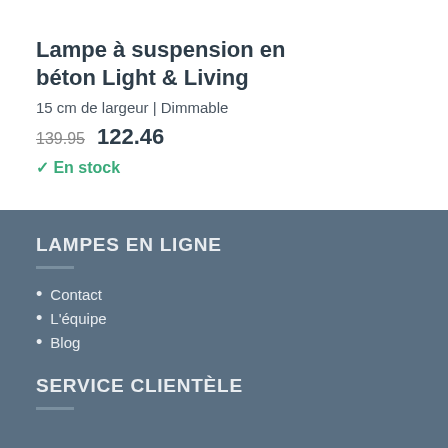Lampe à suspension en béton Light & Living
15 cm de largeur | Dimmable
139.95  122.46
✓ En stock
LAMPES EN LIGNE
• Contact
• L'équipe
• Blog
SERVICE CLIENTÈLE